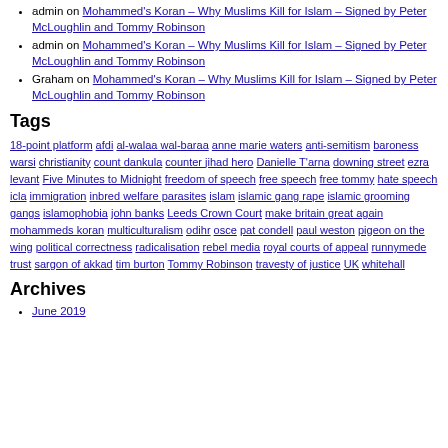admin on Mohammed's Koran – Why Muslims Kill for Islam – Signed by Peter McLoughlin and Tommy Robinson
admin on Mohammed's Koran – Why Muslims Kill for Islam – Signed by Peter McLoughlin and Tommy Robinson
Graham on Mohammed's Koran – Why Muslims Kill for Islam – Signed by Peter McLoughlin and Tommy Robinson
Tags
18-point platform afdi al-walaa wal-baraa anne marie waters anti-semitism baroness warsi christianity count dankula counter jihad hero Danielle T'arna downing street ezra levant Five Minutes to Midnight freedom of speech free speech free tommy hate speech icla immigration inbred welfare parasites islam islamic gang rape islamic grooming gangs islamophobia john banks Leeds Crown Court make britain great again mohammeds koran multiculturalism odihr osce pat condell paul weston pigeon on the wing political correctness radicalisation rebel media royal courts of appeal runnymede trust sargon of akkad tim burton Tommy Robinson travesty of justice UK whitehall
Archives
June 2019